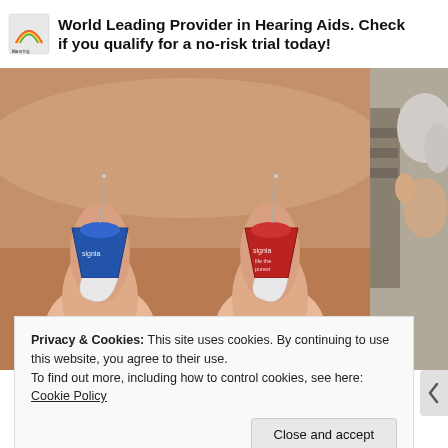World Leading Provider in Hearing Aids. Check if you qualify for a no-risk trial today!
[Figure (photo): Two tiny hearing aids (one blue, one red, both labeled Signia) being held between fingers, shown at close range]
[Figure (photo): Partial view of an elderly person's head/hair in an indoor setting]
Privacy & Cookies: This site uses cookies. By continuing to use this website, you agree to their use.
To find out more, including how to control cookies, see here: Cookie Policy
Close and accept